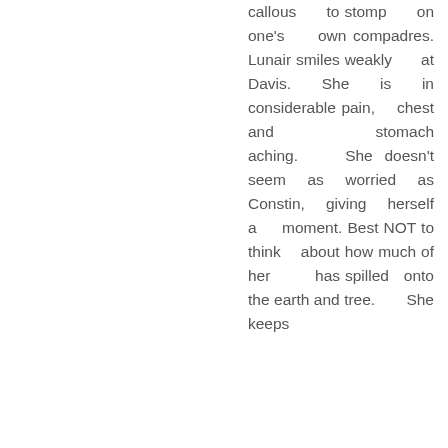callous to stomp on one's own compadres. Lunair smiles weakly at Davis. She is in considerable pain, chest and stomach aching. She doesn't seem as worried as Constin, giving herself a moment. Best NOT to think about how much of her has spilled onto the earth and tree. She keeps